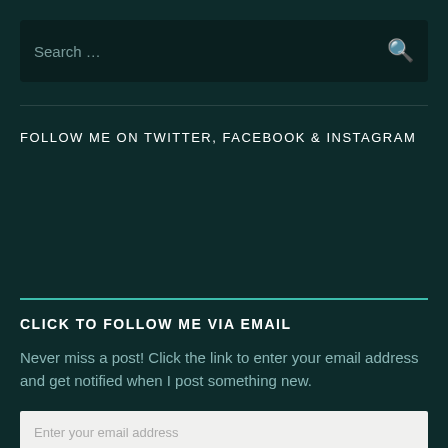Search …
FOLLOW ME ON TWITTER, FACEBOOK & INSTAGRAM
CLICK TO FOLLOW ME VIA EMAIL
Never miss a post! Click the link to enter your email address and get notified when I post something new.
Enter your email address